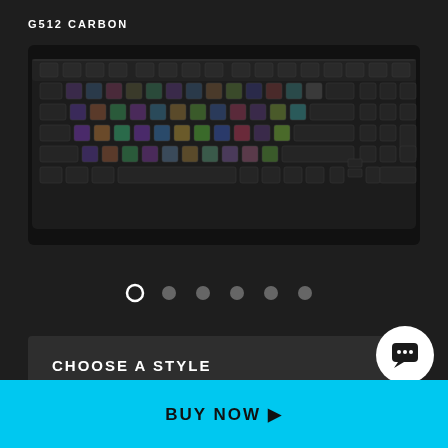G512 CARBON
[Figure (photo): Logitech G512 Carbon mechanical RGB gaming keyboard shown from above, with colorful backlit keys on a dark background]
[Figure (infographic): Carousel navigation dots: 6 dots in a row, first one is an open circle (active/selected), remaining 5 are filled gray dots]
CHOOSE A STYLE
BUY NOW ▶